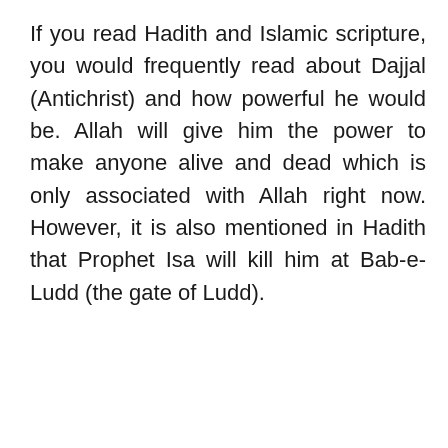If you read Hadith and Islamic scripture, you would frequently read about Dajjal (Antichrist) and how powerful he would be. Allah will give him the power to make anyone alive and dead which is only associated with Allah right now. However, it is also mentioned in Hadith that Prophet Isa will kill him at Bab-e-Ludd (the gate of Ludd).